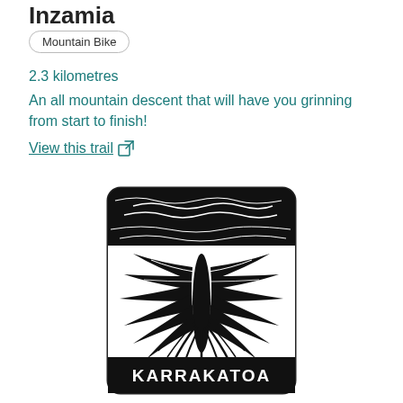Inzamia
Mountain Bike
2.3 kilometres
An all mountain descent that will have you grinning from start to finish!
View this trail
[Figure (logo): Karrakatoa logo: black and white illustration of a stylized pōhutukawa/corolla flower viewed from above with intricate petal/feather detail, set inside a rounded rectangle. The word KARRAKATOA appears in bold white text on a black bar at the bottom.]